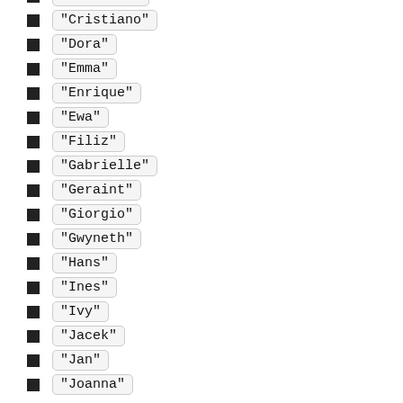"Conchita"
"Cristiano"
"Dora"
"Emma"
"Enrique"
"Ewa"
"Filiz"
"Gabrielle"
"Geraint"
"Giorgio"
"Gwyneth"
"Hans"
"Ines"
"Ivy"
"Jacek"
"Jan"
"Joanna"